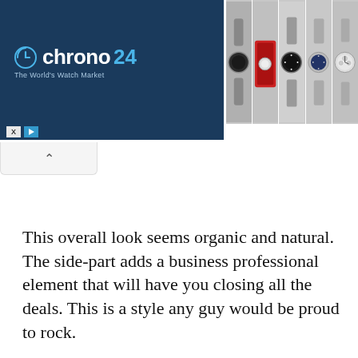[Figure (screenshot): Chrono24 advertisement banner showing 'The World's Watch Market' with watch images on the right side and close/play buttons on the lower left]
This overall look seems organic and natural. The side-part adds a business professional element that will have you closing all the deals. This is a style any guy would be proud to rock.